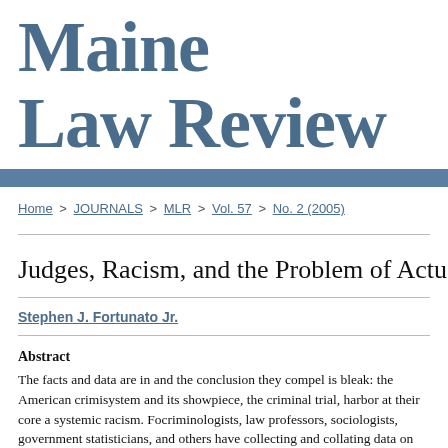Maine Law Review
Home > JOURNALS > MLR > Vol. 57 > No. 2 (2005)
Judges, Racism, and the Problem of Actual Inno...
Stephen J. Fortunato Jr.
Abstract
The facts and data are in and the conclusion they compel is bleak: the American crimi- system and its showpiece, the criminal trial, harbor at their core a systemic racism. Fo- criminologists, law professors, sociologists, government statisticians, and others have collecting and collating data on crime, punishment, and incarceration in the United Sta- to... Alcholob ondod do longota tain d and that times for all...